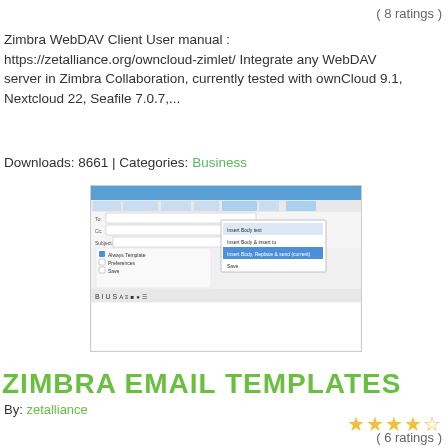( 8 ratings )
Zimbra WebDAV Client User manual : https://zetalliance.org/owncloud-zimlet/ Integrate any WebDAV server in Zimbra Collaboration, currently tested with ownCloud 9.1, Nextcloud 22, Seafile 7.0.7,...
Downloads: 8661 | Categories: Business
[Figure (screenshot): Screenshot of Zimbra WebDAV client interface showing email compose window with a dropdown menu]
ZIMBRA EMAIL TEMPLATES
By: zetalliance
★★★★☆
( 6 ratings )